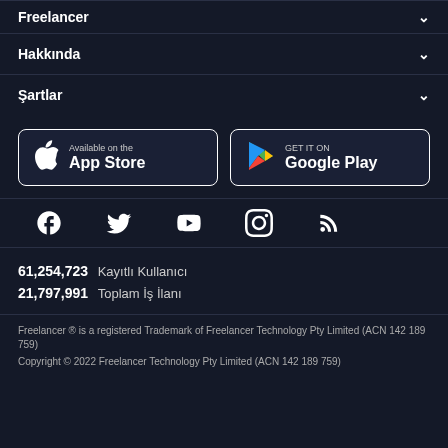Freelancer
Hakkında
Şartlar
[Figure (screenshot): App Store and Google Play download buttons]
[Figure (infographic): Social media icons: Facebook, Twitter, YouTube, Instagram, RSS]
61,254,723  Kayıtlı Kullanıcı
21,797,991  Toplam İş İlanı
Freelancer ® is a registered Trademark of Freelancer Technology Pty Limited (ACN 142 189 759)
Copyright © 2022 Freelancer Technology Pty Limited (ACN 142 189 759)